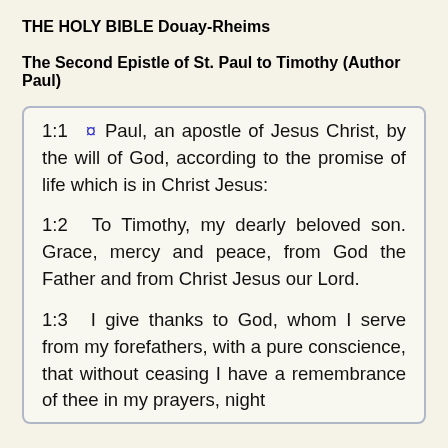THE HOLY BIBLE Douay-Rheims
The Second Epistle of St. Paul to Timothy (Author Paul)
1:1 ¤ Paul, an apostle of Jesus Christ, by the will of God, according to the promise of life which is in Christ Jesus:
1:2 To Timothy, my dearly beloved son. Grace, mercy and peace, from God the Father and from Christ Jesus our Lord.
1:3 I give thanks to God, whom I serve from my forefathers, with a pure conscience, that without ceasing I have a remembrance of thee in my prayers, night